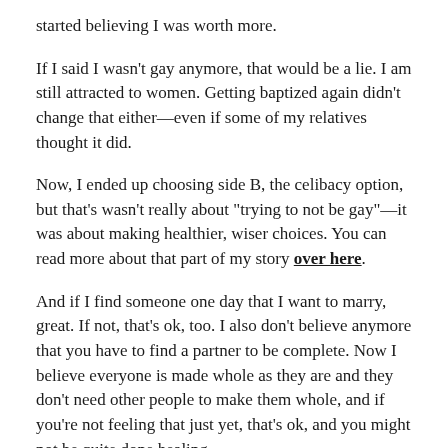started believing I was worth more.
If I said I wasn't gay anymore, that would be a lie. I am still attracted to women. Getting baptized again didn't change that either—even if some of my relatives thought it did.
Now, I ended up choosing side B, the celibacy option, but that's wasn't really about "trying to not be gay"—it was about making healthier, wiser choices. You can read more about that part of my story over here.
And if I find someone one day that I want to marry, great. If not, that's ok, too. I also don't believe anymore that you have to find a partner to be complete. Now I believe everyone is made whole as they are and they don't need other people to make them whole, and if you're not feeling that just yet, that's ok, and you might not be quite done healing.